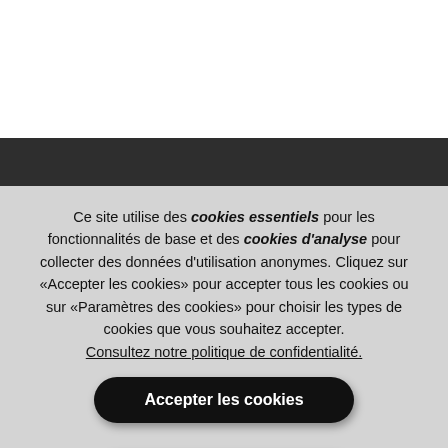[Figure (screenshot): White area at top (blurred/obscured website content behind cookie banner), followed by a dark grey/black horizontal bar representing a website header or navigation bar.]
Ce site utilise des cookies essentiels pour les fonctionnalités de base et des cookies d'analyse pour collecter des données d'utilisation anonymes. Cliquez sur «Accepter les cookies» pour accepter tous les cookies ou sur «Paramètres des cookies» pour choisir les types de cookies que vous souhaitez accepter. Consultez notre politique de confidentialité.
Accepter les cookies
Paramètres des cookies